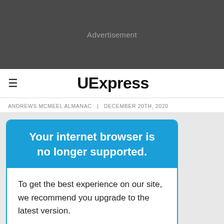[Figure (other): Dark gray advertisement banner area with text 'Advertisement' in light gray]
UExpress
ANDREWS MCMEEL ALMANAC  |  DECEMBER 20TH, 2020
Your internet browser is no longer supported.
To get the best experience on our site, we recommend you upgrade to the latest version.